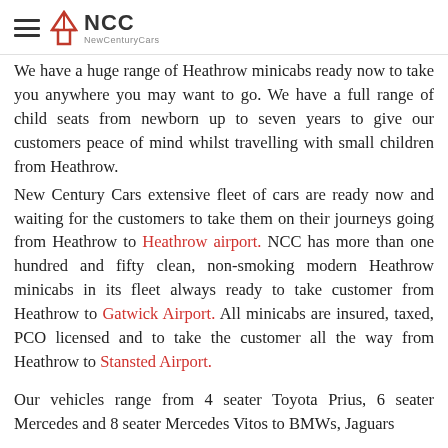NCC New Century Cars
We have a huge range of Heathrow minicabs ready now to take you anywhere you may want to go. We have a full range of child seats from newborn up to seven years to give our customers peace of mind whilst travelling with small children from Heathrow. New Century Cars extensive fleet of cars are ready now and waiting for the customers to take them on their journeys going from Heathrow to Heathrow airport. NCC has more than one hundred and fifty clean, non-smoking modern Heathrow minicabs in its fleet always ready to take customer from Heathrow to Gatwick Airport. All minicabs are insured, taxed, PCO licensed and to take the customer all the way from Heathrow to Stansted Airport.
Our vehicles range from 4 seater Toyota Prius, 6 seater Mercedes and 8 seater Mercedes Vitos to BMWs, Jaguars